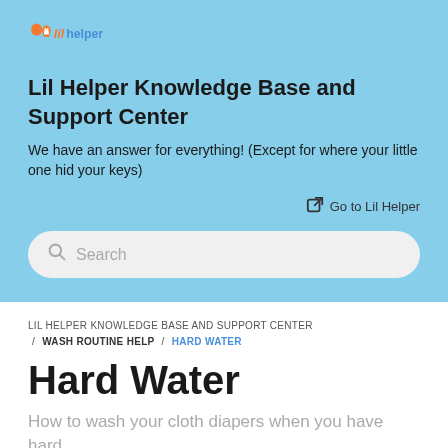[Figure (logo): Lil Helper logo with orange baby bottle and penguin icons and blue/orange italic 'lil helper' text]
Lil Helper Knowledge Base and Support Center
We have an answer for everything! (Except for where your little one hid your keys)
Go to Lil Helper
Search
LIL HELPER KNOWLEDGE BASE AND SUPPORT CENTER / WASH ROUTINE HELP / HARD WATER
Hard Water
How to wash your cloth diapers when you have hard